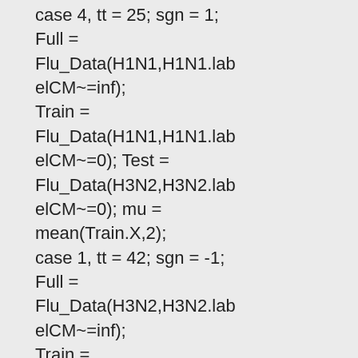case 4, tt = 25; sgn = 1; Full = Flu_Data(H1N1,H1N1.labelCM~=inf); Train = Flu_Data(H1N1,H1N1.labelCM~=0); Test = Flu_Data(H3N2,H3N2.labelCM~=0); mu = mean(Train.X,2); case 1, tt = 42; sgn = -1; Full = Flu_Data(H3N2,H3N2.labelCM~=inf); Train = Flu_Data(H3N2,H3N2.lab